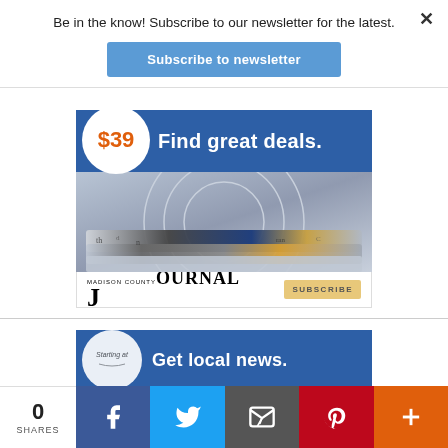Be in the know! Subscribe to our newsletter for the latest.
Subscribe to newsletter
[Figure (advertisement): Newspaper subscription ad showing $39 price in orange circle, 'Find great deals.' text on blue background, photo of stacked newspapers, Madison County Journal logo with Subscribe button]
[Figure (advertisement): Madison County Journal 'Get local news.' subscription ad on blue background with white circle and 'Starting at' text]
0 SHARES
Social share bar with Facebook, Twitter, Email, Pinterest, and More buttons